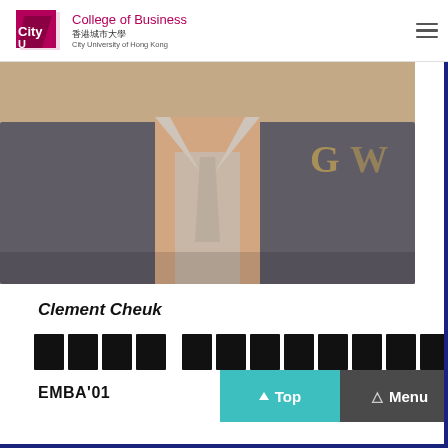CityU College of Business 香港城市大學 City University of Hong Kong
[Figure (photo): Close-up photo of a man in a dark suit and light shirt with a tie, face cropped out, blurred background with gold lettering]
Clement Cheuk
卓 邦奇邦奇邦奇邦奇邦奇 (Chinese characters rendered as dark boxes)
EMBA'01